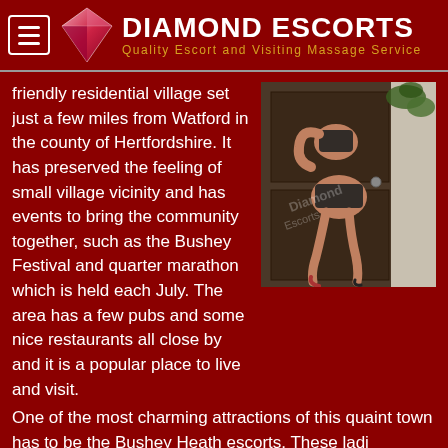Diamond Escorts — Quality Escort and Visiting Massage Service
friendly residential village set just a few miles from Watford in the county of Hertfordshire. It has preserved the feeling of small village vicinity and has events to bring the community together, such as the Bushey Festival and quarter marathon which is held each July. The area has a few pubs and some nice restaurants all close by and it is a popular place to live and visit.
[Figure (photo): A woman in black lingerie posing near a wooden door with a watermark overlay reading 'Diamond Escorts']
One of the most charming attractions of this quaint town has to be the Bushey Heath escorts. These ladi charming, friendly and a whole lot of fun. Each lady